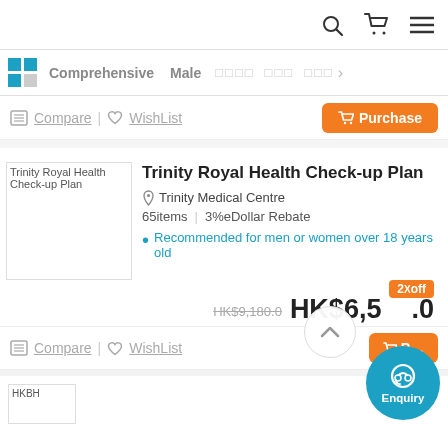🔍 🛒 ☰
Comprehensive  Male  □□□□  □□□  □□□ >
Compare | ♡ WishList    🛒 Purchase
[Figure (photo): Trinity Royal Health Check-up Plan product image placeholder]
Trinity Royal Health Check-up Plan
📍 Trinity Medical Centre
65items  |  3%eDollar Rebate
Recommended for men or women over 18 years old
2X off   HK$9,180.0   HK$6,500.0
Compare | ♡ WishList    🛒 Purchase
[Figure (photo): HKBH product image placeholder]